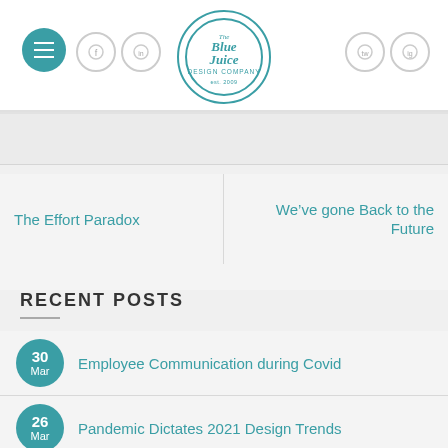[Figure (logo): Blue Juice Design Company circular logo with teal text and border]
The Effort Paradox
We've gone Back to the Future
RECENT POSTS
30 Mar — Employee Communication during Covid
26 Mar — Pandemic Dictates 2021 Design Trends
19 Jun — Start-Up Marketing 101